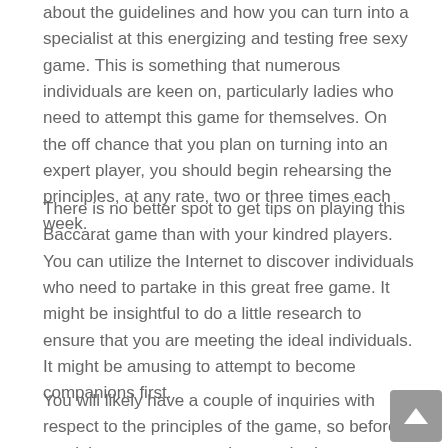about the guidelines and how you can turn into a specialist at this energizing and testing free sexy game. This is something that numerous individuals are keen on, particularly ladies who need to attempt this game for themselves. On the off chance that you plan on turning into an expert player, you should begin rehearsing the principles, at any rate, two or three times each week.
There is no better spot to get tips on playing this Baccarat game than with your kindred players. You can utilize the Internet to discover individuals who need to partake in this great free game. It might be insightful to do a little research to ensure that you are meeting the ideal individuals. It might be amusing to attempt to become companions first.
You will likely have a couple of inquiries with respect to the principles of the game, so before you join, request to see the standards or download the most recent